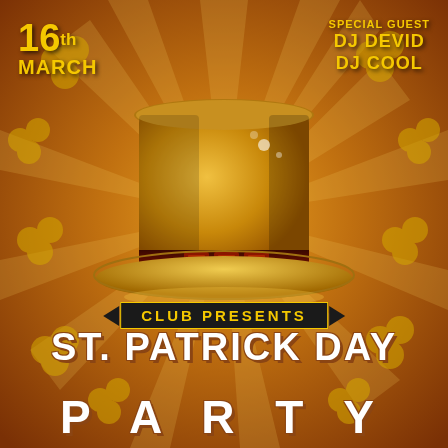[Figure (illustration): St. Patrick's Day party poster with golden leprechaun top hat centerpiece, shamrock decorations, sunburst rays on orange-brown background]
16th MARCH
SPECIAL GUEST
DJ DEVID
DJ COOL
CLUB PRESENTS
ST. PATRICK DAY
PARTY